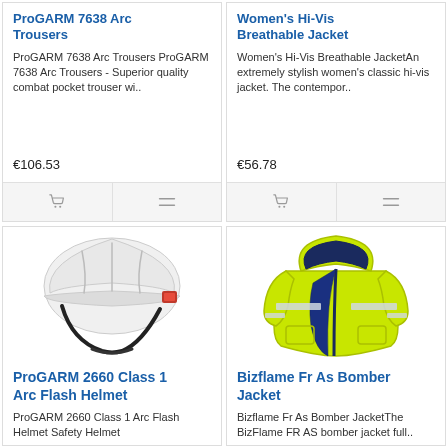ProGARM 7638 Arc Trousers
ProGARM 7638 Arc Trousers ProGARM 7638 Arc Trousers - Superior quality combat pocket trouser wi..
€106.53
Women's Hi-Vis Breathable Jacket
Women's Hi-Vis Breathable JacketAn extremely stylish women's classic hi-vis jacket. The contempor..
€56.78
[Figure (photo): White arc flash safety helmet with red chin strap adjuster and black chin strap]
ProGARM 2660 Class 1 Arc Flash Helmet
ProGARM 2660 Class 1 Arc Flash Helmet Safety Helmet
[Figure (photo): Yellow hi-vis bomber jacket with reflective strips and navy blue lining, with hood]
Bizflame Fr As Bomber Jacket
Bizflame Fr As Bomber JacketThe BizFlame FR AS bomber jacket full..